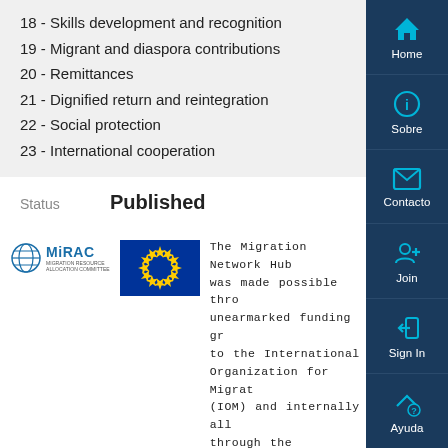18 - Skills development and recognition
19 - Migrant and diaspora contributions
20 - Remittances
21 - Dignified return and reintegration
22 - Social protection
23 - International cooperation
Status    Published
[Figure (logo): MiRAC - Migration Resource Allocation Committee logo]
[Figure (illustration): European Union flag - blue background with circle of yellow stars]
The Migration Network Hub was made possible through unearmarked funding granted to the International Organization for Migration (IOM) and internally allocated through the Migration Resource Allocation Committee (MiRAC). This is also co-funded by the European Union.